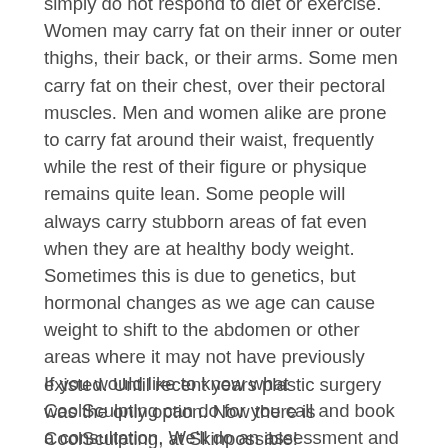simply do not respond to diet or exercise. Women may carry fat on their inner or outer thighs, their back, or their arms. Some men carry fat on their chest, over their pectoral muscles. Men and women alike are prone to carry fat around their waist, frequently while the rest of their figure or physique remains quite lean. Some people will always carry stubborn areas of fat even when they are at healthy body weight. Sometimes this is due to genetics, but hormonal changes as we age can cause weight to shift to the abdomen or other areas where it may not have previously existed. Until recent years plastic surgery was the only option. Now there is CoolSculpting, at Skinpossible!
If you would like to know what CoolSculpting can do for you call and book a consultation. We'll do an assessment and let you know if you are a candidate. We'll give you all the information you need to make an informed decision. No judgement. No Pressure. No